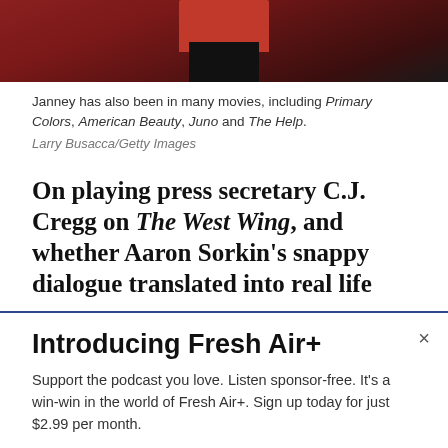[Figure (photo): Partial photo showing a person's torso wearing red and black clothing against a dark reddish-brown background, cropped at top.]
Janney has also been in many movies, including Primary Colors, American Beauty, Juno and The Help.
Larry Busacca/Getty Images
On playing press secretary C.J. Cregg on The West Wing, and whether Aaron Sorkin's snappy dialogue translated into real life
Introducing Fresh Air+
Support the podcast you love. Listen sponsor-free. It's a win-win in the world of Fresh Air+. Sign up today for just $2.99 per month.
SUBSCRIBE